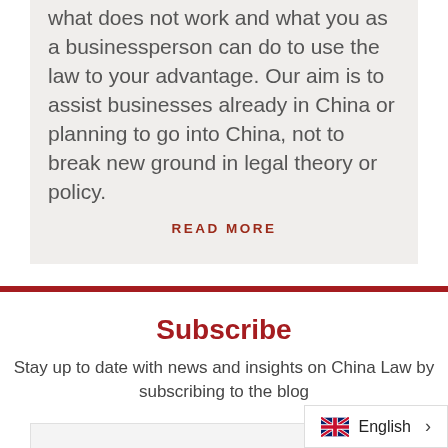what does not work and what you as a businessperson can do to use the law to your advantage. Our aim is to assist businesses already in China or planning to go into China, not to break new ground in legal theory or policy.
READ MORE
Subscribe
Stay up to date with news and insights on China Law by subscribing to the blog
EMAIL
English